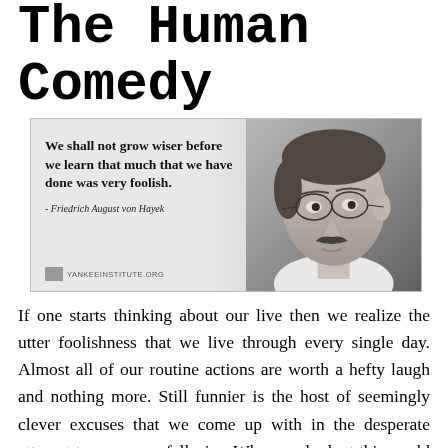The Human Comedy
[Figure (photo): Black and white image of Friedrich August von Hayek with a quote overlaid on the left side: 'We shall not grow wiser before we learn that much that we have done was very foolish.' - Friedrich August von Hayek. YANKEEINSTITUTE.ORG logo at bottom left.]
If one starts thinking about our live then we realize the utter foolishness that we live through every single day. Almost all of our routine actions are worth a hefty laugh and nothing more. Still funnier is the host of seemingly clever excuses that we come up with in the desperate attempt to cover our fallacies. When we look at this world from outside the oyster of our